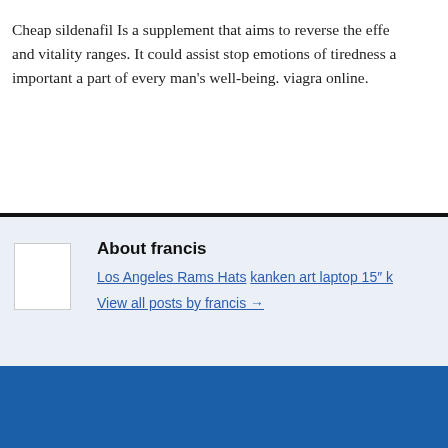Cheap sildenafil Is a supplement that aims to reverse the effe... and vitality ranges. It could assist stop emotions of tiredness a... important a part of every man's well-being. viagra online.
About francis
Los Angeles Rams Hats kanken art laptop 15" k...
View all posts by francis →
← Local time on Monday for an opportunity Capitals Limit jersey